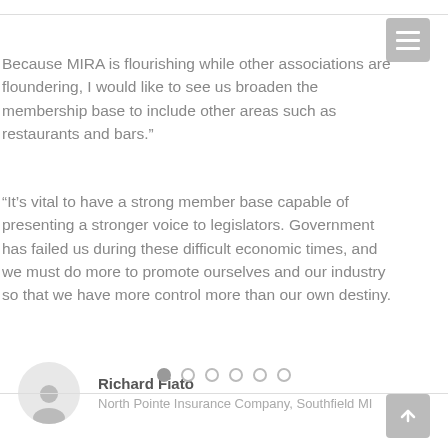Because MIRA is flourishing while other associations are floundering, I would like to see us broaden the membership base to include other areas such as restaurants and bars.”
“It’s vital to have a strong member base capable of presenting a stronger voice to legislators. Government has failed us during these difficult economic times, and we must do more to promote ourselves and our industry so that we have more control more than our own destiny.
Richard Fiato
North Pointe Insurance Company, Southfield MI
[Figure (other): Carousel navigation dots: 6 dots with first dot filled/active, rest outlined]
Scroll to top button